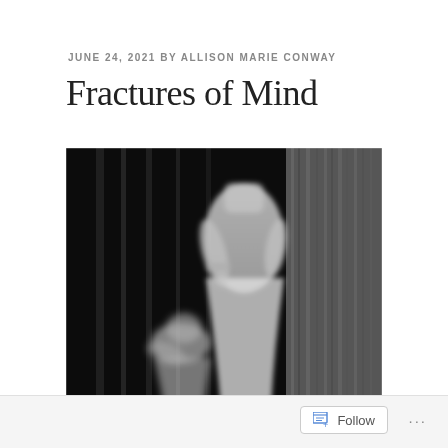JUNE 24, 2021 BY ALLISON MARIE CONWAY
Fractures of Mind
[Figure (photo): Black and white blurred photograph showing two ghostly female figures in white dresses against a dark background with curtain-like textures. The image has a double-exposure or motion blur effect creating an ethereal, dreamlike quality.]
Follow ...